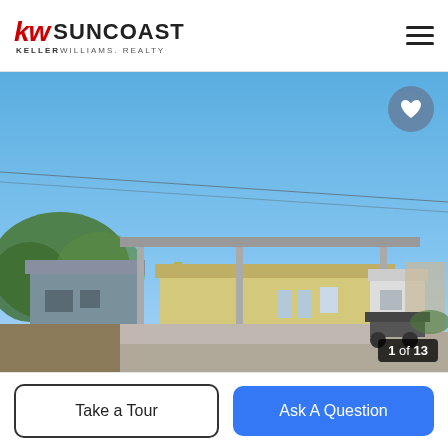[Figure (logo): KW Suncoast Keller Williams Realty logo in red and black]
[Figure (photo): Exterior photo of a single-story home with a large metal carport covering the driveway, a blue/grey section on the left, yellow metal building in the center, and a small trailer visible on the right. Clear blue sky in background with trees on the left.]
1 of 13
Take a Tour
Ask A Question